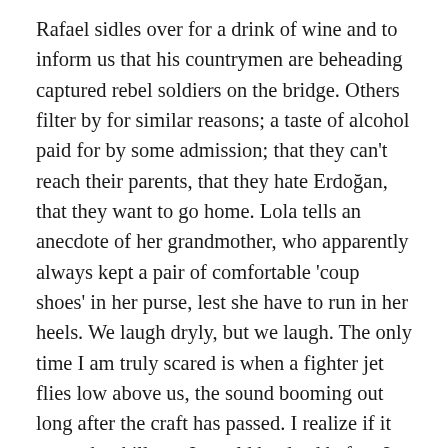Rafael sidles over for a drink of wine and to inform us that his countrymen are beheading captured rebel soldiers on the bridge. Others filter by for similar reasons; a taste of alcohol paid for by some admission; that they can't reach their parents, that they hate Erdoğan, that they want to go home. Lola tells an anecdote of her grandmother, who apparently always kept a pair of comfortable 'coup shoes' in her purse, lest she have to run in her heels. We laugh dryly, but we laugh. The only time I am truly scared is when a fighter jet flies low above us, the sound booming out long after the craft has passed. I realize if it wanted to kill me, I would be dead before I even heard it coming. I realize there are those around the world who live in that fear daily.
The black helicopters at least announce their presence.